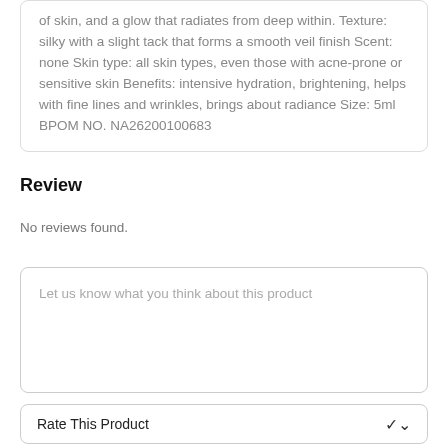of skin, and a glow that radiates from deep within. Texture: silky with a slight tack that forms a smooth veil finish Scent: none Skin type: all skin types, even those with acne-prone or sensitive skin Benefits: intensive hydration, brightening, helps with fine lines and wrinkles, brings about radiance Size: 5ml BPOM NO. NA26200100683
Review
No reviews found.
Let us know what you think about this product
Rate This Product